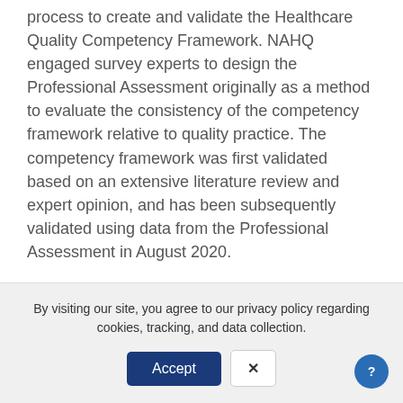process to create and validate the Healthcare Quality Competency Framework. NAHQ engaged survey experts to design the Professional Assessment originally as a method to evaluate the consistency of the competency framework relative to quality practice. The competency framework was first validated based on an extensive literature review and expert opinion, and has been subsequently validated using data from the Professional Assessment in August 2020.
Media Contact
Amanda Belknap
By visiting our site, you agree to our privacy policy regarding cookies, tracking, and data collection.